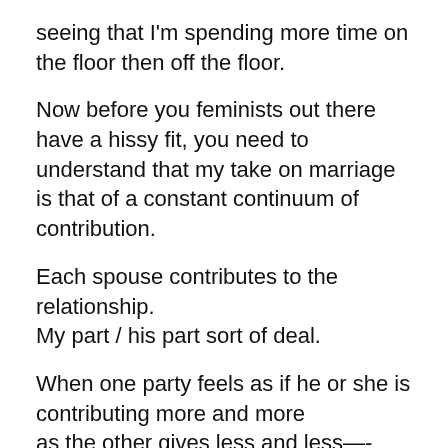seeing that I'm spending more time on the floor then off the floor.
Now before you feminists out there have a hissy fit, you need to understand that my take on marriage is that of a constant continuum of contribution.
Each spouse contributes to the relationship. My part / his part sort of deal.
When one party feels as if he or she is contributing more and more as the other gives less and less—-resentment builds.
Ours has always been pretty much unspoken as we each have worked hard at contributing. Be it going to work to make money to pay the bills...